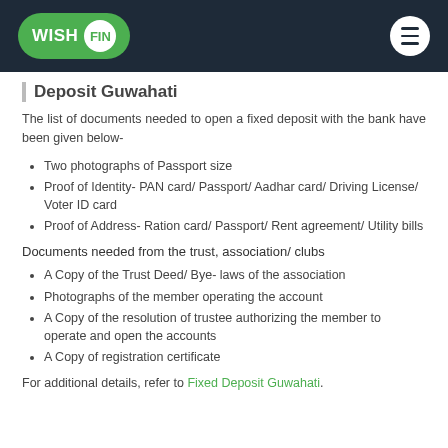WISH FIN (logo/navbar)
Deposit Guwahati
The list of documents needed to open a fixed deposit with the bank have been given below-
Two photographs of Passport size
Proof of Identity- PAN card/ Passport/ Aadhar card/ Driving License/ Voter ID card
Proof of Address- Ration card/ Passport/ Rent agreement/ Utility bills
Documents needed from the trust, association/ clubs
A Copy of the Trust Deed/ Bye- laws of the association
Photographs of the member operating the account
A Copy of the resolution of trustee authorizing the member to operate and open the accounts
A Copy of registration certificate
For additional details, refer to Fixed Deposit Guwahati.